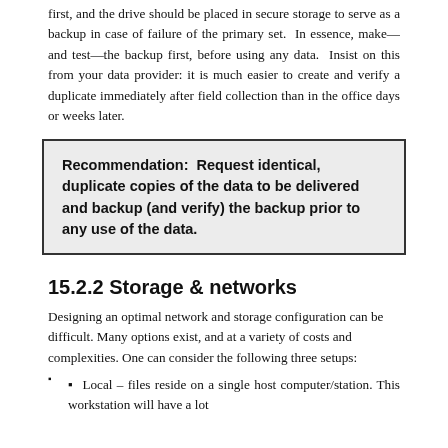first, and the drive should be placed in secure storage to serve as a backup in case of failure of the primary set. In essence, make—and test—the backup first, before using any data. Insist on this from your data provider: it is much easier to create and verify a duplicate immediately after field collection than in the office days or weeks later.
Recommendation: Request identical, duplicate copies of the data to be delivered and backup (and verify) the backup prior to any use of the data.
15.2.2 Storage & networks
Designing an optimal network and storage configuration can be difficult. Many options exist, and at a variety of costs and complexities. One can consider the following three setups:
Local – files reside on a single host computer/station. This workstation will have a lot